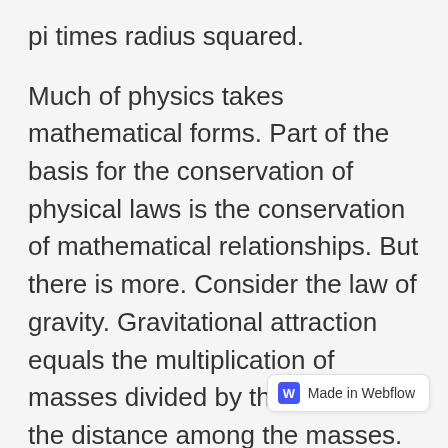pi times radius squared.
Much of physics takes mathematical forms. Part of the basis for the conservation of physical laws is the conservation of mathematical relationships. But there is more. Consider the law of gravity. Gravitational attraction equals the multiplication of masses divided by the square of the distance among the masses. Can this equation change? If the equation were to change, then there would have to be some physical law (L1) describing and, indeed, mandating the change. But would L1 be unch not, some even higher law, L2, would